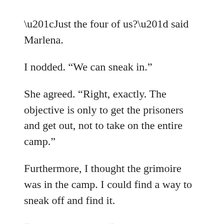“Just the four of us?” said Marlena.
I nodded. “We can sneak in.”
She agreed. “Right, exactly. The objective is only to get the prisoners and get out, not to take on the entire camp.”
Furthermore, I thought the grimoire was in the camp. I could find a way to sneak off and find it.
“No,” said Kieran. “No, we’d be violating orders directly. We were told to sit tight and wait it out.”
“Wait until he kills them?” asked Hallam. “I don’t think so.”